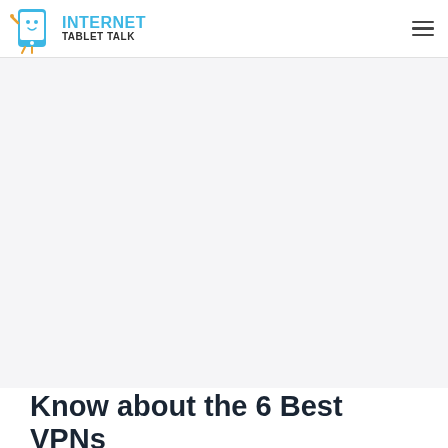Internet Tablet Talk
[Figure (other): Large advertisement or blank content area below the header navigation bar]
Know about the 6 Best VPNs